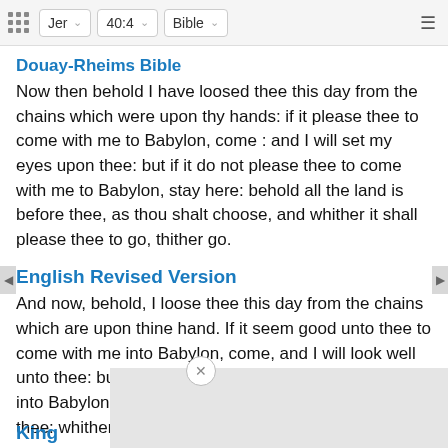Jer  40:4  Bible
Douay-Rheims Bible
Now then behold I have loosed thee this day from the chains which were upon thy hands: if it please thee to come with me to Babylon, come : and I will set my eyes upon thee: but if it do not please thee to come with me to Babylon, stay here: behold all the land is before thee, as thou shalt choose, and whither it shall please thee to go, thither go.
English Revised Version
And now, behold, I loose thee this day from the chains which are upon thine hand. If it seem good unto thee to come with me into Babylon, come, and I will look well unto thee: but if it seem ill unto thee to come with me into Babylon, forbear: behold, all the land is before thee: whither it seemeth good and conve...
King